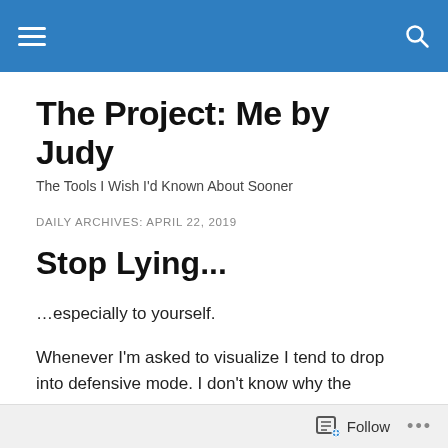The Project: Me by Judy — site navigation header
The Project: Me by Judy
The Tools I Wish I'd Known About Sooner
DAILY ARCHIVES: APRIL 22, 2019
Stop Lying...
…especially to yourself.
Whenever I'm asked to visualize I tend to drop into defensive mode. I don't know why the suggestion triggers irritation. I think it's because it's usually prefaced by "You
Follow ...